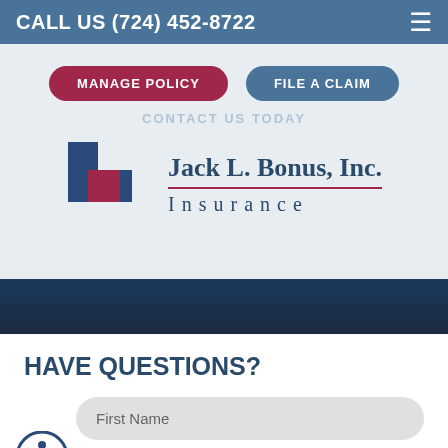CALL US (724) 452-8722
[Figure (logo): Jack L. Bonus, Inc. Insurance company logo with blue and red square icon]
MANAGE POLICY
FILE A CLAIM
CONTACT US TODAY
HAVE QUESTIONS?
First Name
Last Name